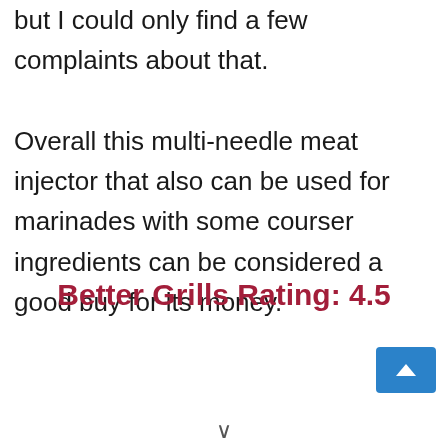but I could only find a few complaints about that. Overall this multi-needle meat injector that also can be used for marinades with some courser ingredients can be considered a good buy for its money.
Better Grills Rating: 4.5